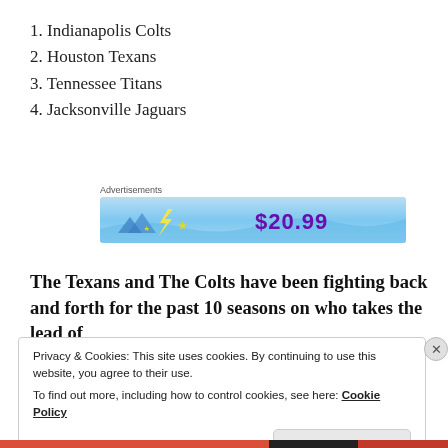1. Indianapolis Colts
2. Houston Texans
3. Tennessee Titans
4. Jacksonville Jaguars
[Figure (other): Advertisement banner with blue gradient background showing '$20.99' in purple text and decorative stars/wave graphics]
The Texans and The Colts have been fighting back and forth for the past 10 seasons on who takes the lead of
Privacy & Cookies: This site uses cookies. By continuing to use this website, you agree to their use.
To find out more, including how to control cookies, see here: Cookie Policy